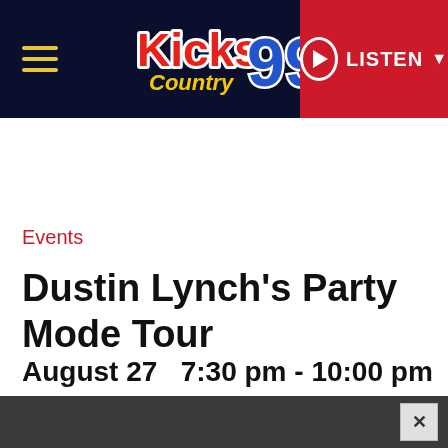Kicks 99 Country — LISTEN
Events
Dustin Lynch's Party Mode Tour
August 27   7:30 pm - 10:00 pm